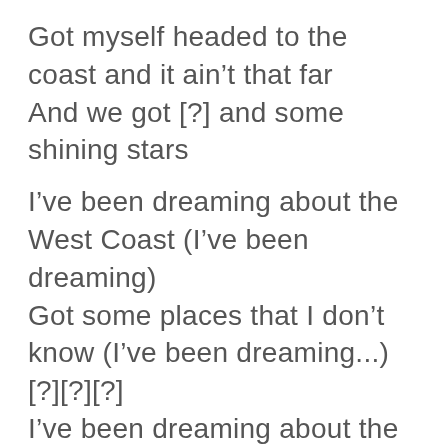Got myself headed to the coast and it ain't that far
And we got [?] and some shining stars
I've been dreaming about the West Coast (I've been dreaming)
Got some places that I don't know (I've been dreaming...)
[?][?][?]
I've been dreaming about the west coast (I've been dreaming)
[?][?][?] (I've been dreaming...)
I need the sun for just a year
I'll kiss the sky and disappear